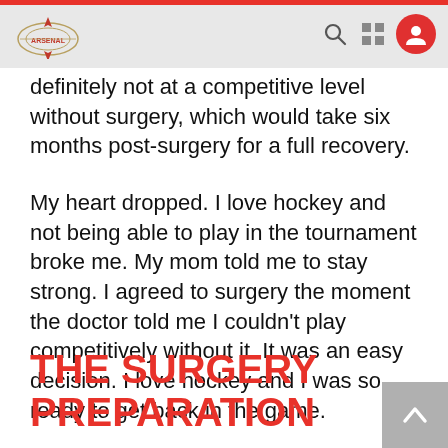Navigation bar with logo, search, grid, and profile icons
definitely not at a competitive level without surgery, which would take six months post-surgery for a full recovery.
My heart dropped. I love hockey and not being able to play in the tournament broke me. My mom told me to stay strong. I agreed to surgery the moment the doctor told me I couldn't play competitively without it. It was an easy decision. I love hockey and I was so ready to get back in the game.
THE SURGERY PREPARATION
My doctor advised me not to rush the surgery